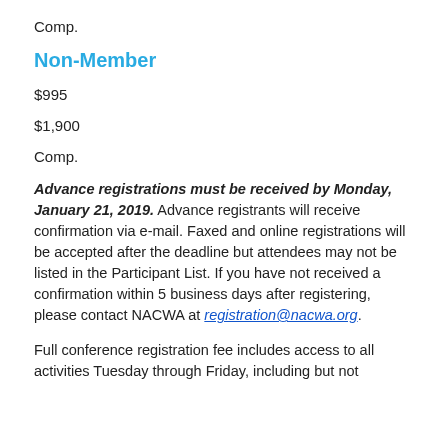Comp.
Non-Member
$995
$1,900
Comp.
Advance registrations must be received by Monday, January 21, 2019.  Advance registrants will receive confirmation via e-mail.  Faxed and online registrations will be accepted after the deadline but attendees may not be listed in the Participant List.  If you have not received a confirmation within 5 business days after registering, please contact NACWA at registration@nacwa.org.
Full conference registration fee includes access to all activities Tuesday through Friday, including but not